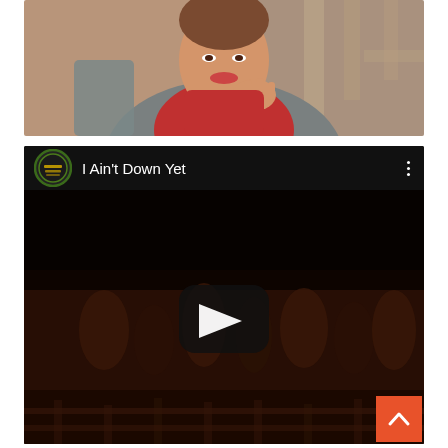[Figure (photo): Portrait photo of a woman with a red turtleneck and gray vest, posing with chin resting on hand, with wooden furniture visible in background]
[Figure (screenshot): YouTube video embed screenshot titled 'I Ain't Down Yet' with a channel logo on the left, three-dot menu on the right, and a dark video thumbnail showing a crowd scene with a play button overlay. A back-to-top orange button is visible in the bottom-right corner.]